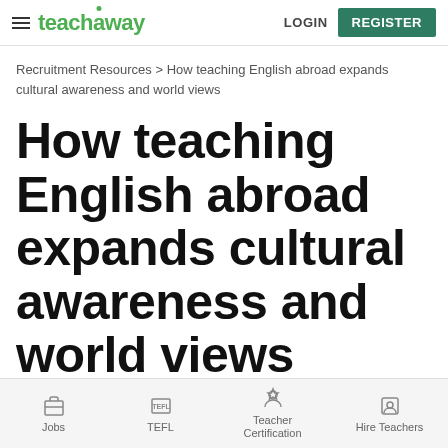teachaway  LOGIN  REGISTER
Recruitment Resources > How teaching English abroad expands cultural awareness and world views
How teaching English abroad expands cultural awareness and world views
Jobs  TEFL  Teacher Certification  Hire Teachers